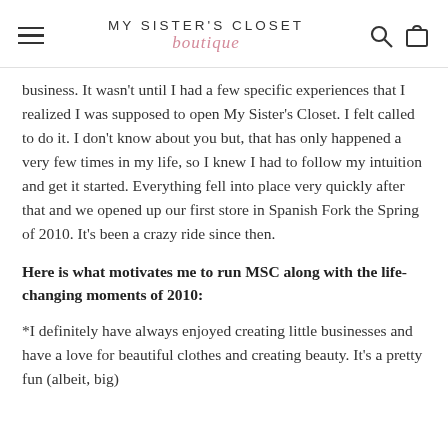MY SISTER'S CLOSET boutique
business. It wasn't until I had a few specific experiences that I realized I was supposed to open My Sister's Closet. I felt called to do it. I don't know about you but, that has only happened a very few times in my life, so I knew I had to follow my intuition and get it started. Everything fell into place very quickly after that and we opened up our first store in Spanish Fork the Spring of 2010. It's been a crazy ride since then.
Here is what motivates me to run MSC along with the life-changing moments of 2010:
*I definitely have always enjoyed creating little businesses and have a love for beautiful clothes and creating beauty. It's a pretty fun (albeit, big)